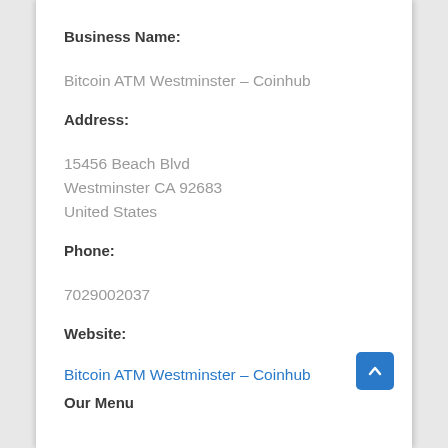Business Name:
Bitcoin ATM Westminster – Coinhub
Address:
15456 Beach Blvd
Westminster CA 92683
United States
Phone:
7029002037
Website:
Bitcoin ATM Westminster – Coinhub
Our Menu